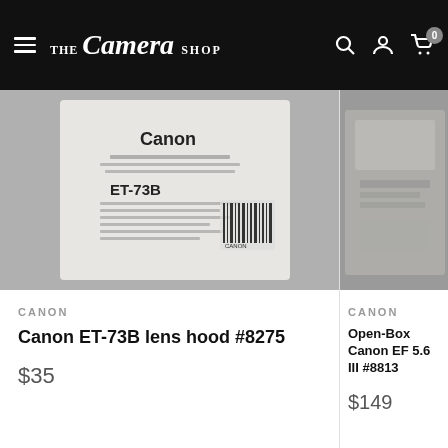The Camera Shop
[Figure (photo): Canon ET-73B lens hood product box, back view, showing Canon branding and ET-73B text]
CANON
Canon ET-73B lens hood #8275
$35
[Figure (photo): Partial view of Canon product box, blurred/cropped]
CANON
Open-Box Canon EF 5.6 III #8813
$149